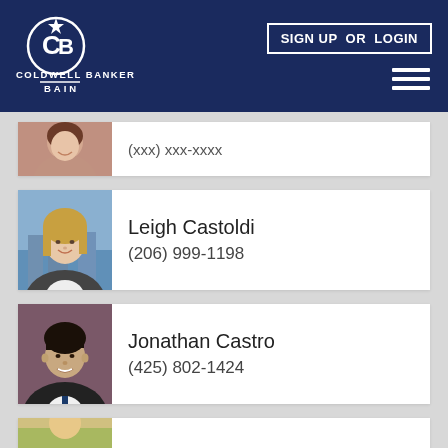[Figure (logo): Coldwell Banker Bain logo with CB star emblem in white on navy background]
SIGN UP OR LOGIN
[Figure (photo): Partially visible female agent photo at top of list]
Leigh Castoldi
(206) 999-1198
Jonathan Castro
(425) 802-1424
[Figure (photo): Partially visible agent photo at bottom of list]